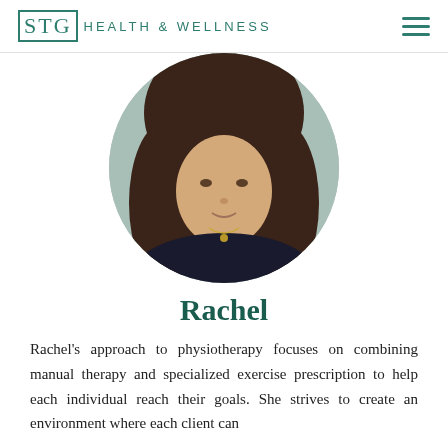STG HEALTH & WELLNESS
[Figure (photo): Circular cropped portrait photo of Rachel, a woman with long brown wavy hair, wearing a dark top and a small necklace, photographed against a light blue-grey background.]
Rachel
Rachel's approach to physiotherapy focuses on combining manual therapy and specialized exercise prescription to help each individual reach their goals. She strives to create an environment where each client can